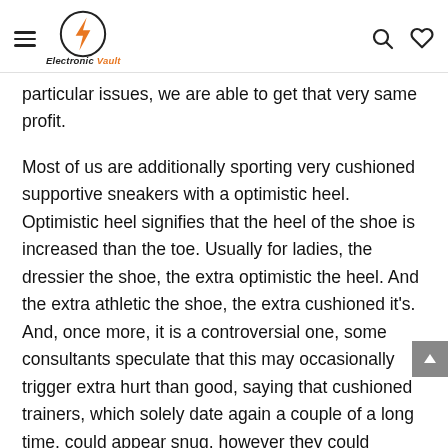Electronic Vault
particular issues, we are able to get that very same profit.
Most of us are additionally sporting very cushioned supportive sneakers with a optimistic heel. Optimistic heel signifies that the heel of the shoe is increased than the toe. Usually for ladies, the dressier the shoe, the extra optimistic the heel. And the extra athletic the shoe, the extra cushioned it's. And, once more, it is a controversial one, some consultants speculate that this may occasionally trigger extra hurt than good, saying that cushioned trainers, which solely date again a couple of a long time, could appear snug, however they could